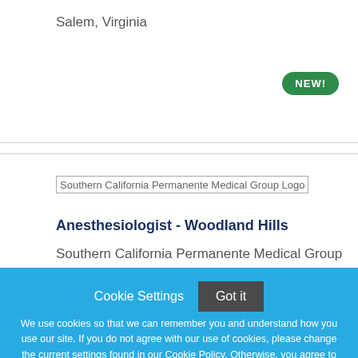Salem, Virginia
[Figure (other): Green oval badge with text NEW!]
[Figure (logo): Southern California Permanente Medical Group Logo]
Anesthesiologist - Woodland Hills
Southern California Permanente Medical Group
Cookie Settings   Got it
We use cookies so that we can remember you and understand how you use our site. If you do not agree with our use of cookies, please change the current settings found in our Cookie Policy. Otherwise, you agree to the use of the cookies as they are currently set.